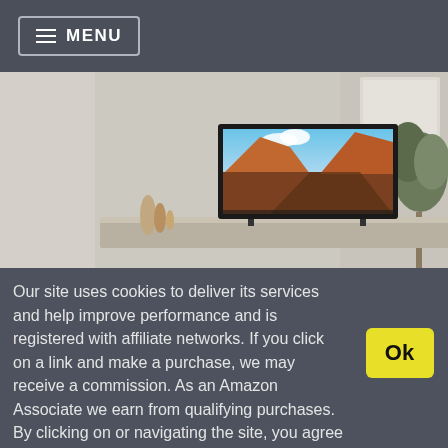≡ MENU
[Figure (photo): A Sony flat-screen television displaying a colorful canyon landscape, placed on a light concrete media console in a modern living room with neutral walls and a plant in the background.]
Our site uses cookies to deliver its services and help improve performance and is registered with affiliate networks. If you click on a link and make a purchase, we may receive a commission. As an Amazon Associate we earn from qualifying purchases. By clicking on or navigating the site, you agree to our use of cookies. View our Cookie Policy and Affiliate Disclosure